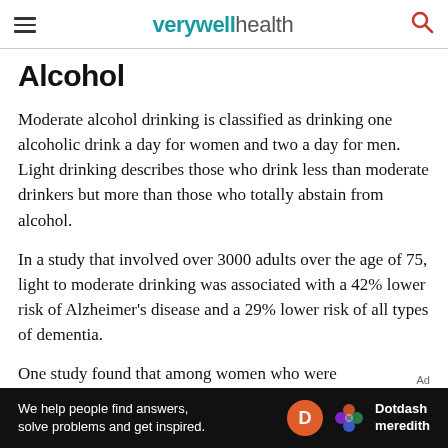verywell health
Alcohol
Moderate alcohol drinking is classified as drinking one alcoholic drink a day for women and two a day for men. Light drinking describes those who drink less than moderate drinkers but more than those who totally abstain from alcohol.
In a study that involved over 3000 adults over the age of 75, light to moderate drinking was associated with a 42% lower risk of Alzheimer's disease and a 29% lower risk of all types of dementia.
One study found that among women who were
[Figure (other): Dotdash Meredith advertisement banner: 'We help people find answers, solve problems and get inspired.' with Dotdash Meredith logo]